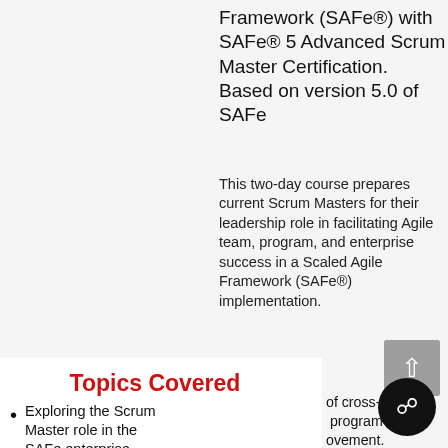Framework (SAFe®) with SAFe® 5 Advanced Scrum Master Certification. Based on version 5.0 of SAFe
This two-day course prepares current Scrum Masters for their leadership role in facilitating Agile team, program, and enterprise success in a Scaled Agile Framework (SAFe®) implementation.
Topics Covered
Exploring the Scrum Master role in the SAFe enterprise
Applying SAFe Principles: A Scrum Master's perspective
Exploring Agile and Scrum anti-patterns
Facilitating program execution
Improving flow with
of cross-
program
ovement.
gm with
ineering
lication
of value;
th
nt, and
e la
xts.